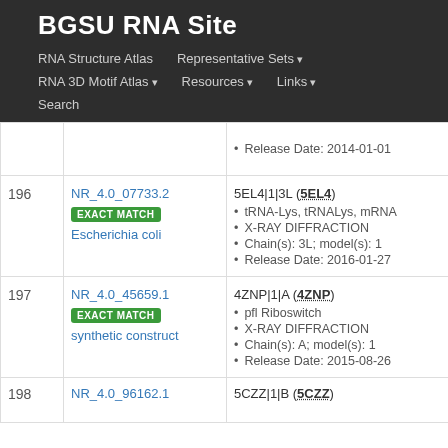BGSU RNA Site
RNA Structure Atlas | Representative Sets ▾ | RNA 3D Motif Atlas ▾ | Resources ▾ | Links ▾ | Search
| # | ID | Detail |
| --- | --- | --- |
|  |  | Release Date: 2014-01-01 |
| 196 | NR_4.0_07733.2 EXACT MATCH Escherichia coli | 5EL4|1|3L (5EL4)
tRNA-Lys, tRNALys, mRNA
X-RAY DIFFRACTION
Chain(s): 3L; model(s): 1
Release Date: 2016-01-27 |
| 197 | NR_4.0_45659.1 EXACT MATCH synthetic construct | 4ZNP|1|A (4ZNP)
pfl Riboswitch
X-RAY DIFFRACTION
Chain(s): A; model(s): 1
Release Date: 2015-08-26 |
| 198 | NR_4.0_96162.1 | 5CZZ|1|B (5CZZ) |